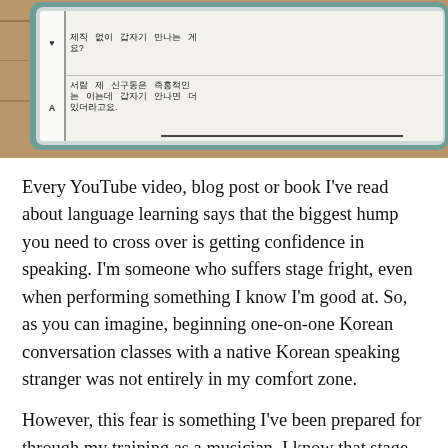[Figure (photo): Photo of a tablet showing a Korean language learning worksheet with handwritten Korean characters in a grid format. The tablet has a teal/green case and is resting on a wooden surface. The worksheet shows Q and A rows with Korean text including characters for conversation practice.]
Every YouTube video, blog post or book I've read about language learning says that the biggest hump you need to cross over is getting confidence in speaking. I'm someone who suffers stage fright, even when performing something I know I'm good at. So, as you can imagine, beginning one-on-one Korean conversation classes with a native Korean speaking stranger was not entirely in my comfort zone.
However, this fear is something I've been prepared for through my training as a musician. I know that stage fright is common – every musician I know has suffered